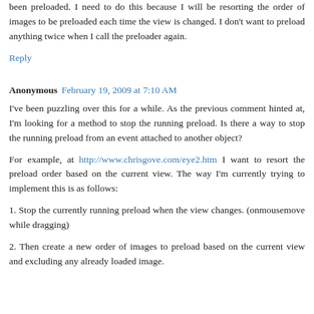been preloaded. I need to do this because I will be resorting the order of images to be preloaded each time the view is changed. I don't want to preload anything twice when I call the preloader again.
Reply
Anonymous  February 19, 2009 at 7:10 AM
I've been puzzling over this for a while. As the previous comment hinted at, I'm looking for a method to stop the running preload. Is there a way to stop the running preload from an event attached to another object?
For example, at http://www.chrisgove.com/eye2.htm I want to resort the preload order based on the current view. The way I'm currently trying to implement this is as follows:
1.  Stop the currently running preload when the view changes. (onmousemove while dragging)
2. Then create a new order of images to preload based on the current view and excluding any already loaded image.